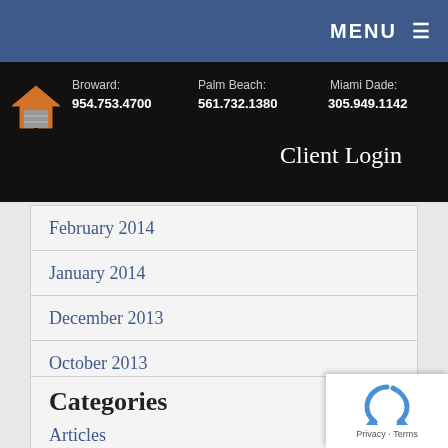MENU ≡
[Figure (screenshot): Website header bar with home icon and contact phone numbers for Broward (954.753.4700), Palm Beach (561.732.1380), Miami Dade (305.949.1142), and Client Login link]
February 2014
January 2014
December 2013
October 2013
September 2013
August 2013
Categories
Articles